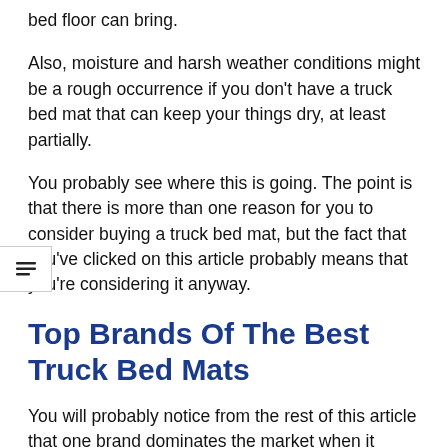bed floor can bring.
Also, moisture and harsh weather conditions might be a rough occurrence if you don't have a truck bed mat that can keep your things dry, at least partially.
You probably see where this is going. The point is that there is more than one reason for you to consider buying a truck bed mat, but the fact that you've clicked on this article probably means that you're considering it anyway.
Top Brands Of The Best Truck Bed Mats
You will probably notice from the rest of this article that one brand dominates the market when it comes to truck bed mats.